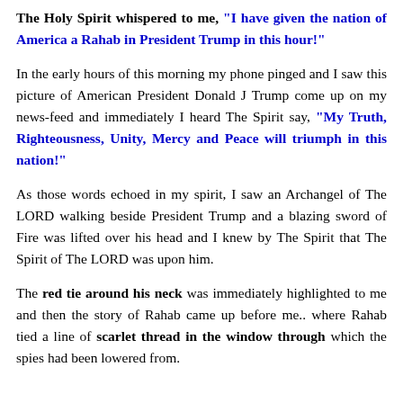The Holy Spirit whispered to me, "I have given the nation of America a Rahab in President Trump in this hour!"
In the early hours of this morning my phone pinged and I saw this picture of American President Donald J Trump come up on my news-feed and immediately I heard The Spirit say, "My Truth, Righteousness, Unity, Mercy and Peace will triumph in this nation!"
As those words echoed in my spirit, I saw an Archangel of The LORD walking beside President Trump and a blazing sword of Fire was lifted over his head and I knew by The Spirit that The Spirit of The LORD was upon him.
The red tie around his neck was immediately highlighted to me and then the story of Rahab came up before me.. where Rahab tied a line of scarlet thread in the window through which the spies had been lowered from.